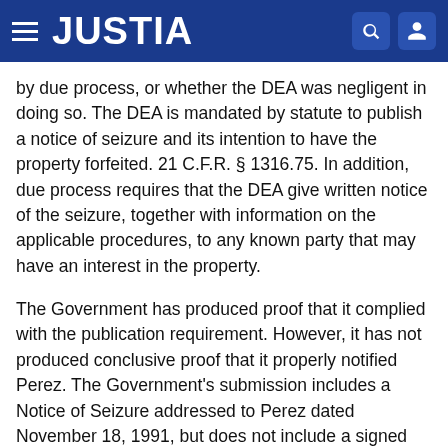JUSTIA
by due process, or whether the DEA was negligent in doing so. The DEA is mandated by statute to publish a notice of seizure and its intention to have the property forfeited. 21 C.F.R. § 1316.75. In addition, due process requires that the DEA give written notice of the seizure, together with information on the applicable procedures, to any known party that may have an interest in the property.
The Government has produced proof that it complied with the publication requirement. However, it has not produced conclusive proof that it properly notified Perez. The Government's submission includes a Notice of Seizure addressed to Perez dated November 18, 1991, but does not include a signed receipt showing that Perez had, in fact, received the Notice. Given Perez's sworn statement that she never received such a Notice from